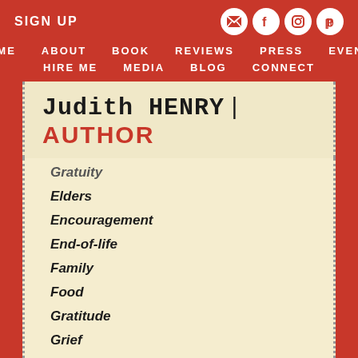SIGN UP
HOME  ABOUT  BOOK  REVIEWS  PRESS  EVENTS  HIRE ME  MEDIA  BLOG  CONNECT
Judith HENRY | AUTHOR
Gratuity
Elders
Encouragement
End-of-life
Family
Food
Gratitude
Grief
Holidays
Hospice
Humor
Legacy
Love